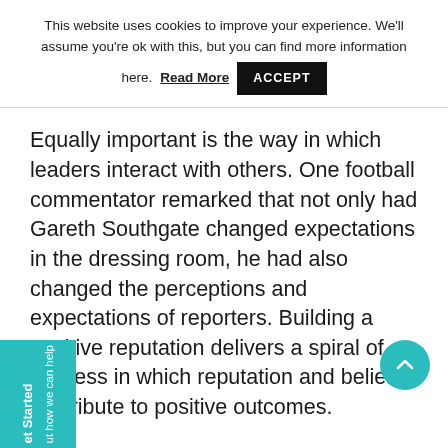This website uses cookies to improve your experience. We'll assume you're ok with this, but you can find more information here. Read More  ACCEPT
Equally important is the way in which leaders interact with others. One football commentator remarked that not only had Gareth Southgate changed expectations in the dressing room, he had also changed the perceptions and expectations of reporters. Building a positive reputation delivers a spiral of success in which reputation and belief contribute to positive outcomes.